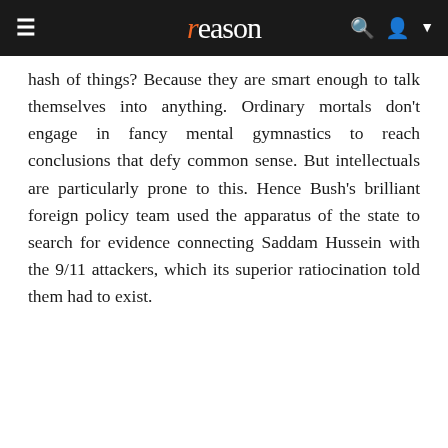reason
hash of things? Because they are smart enough to talk themselves into anything. Ordinary mortals don't engage in fancy mental gymnastics to reach conclusions that defy common sense. But intellectuals are particularly prone to this. Hence Bush's brilliant foreign policy team used the apparatus of the state to search for evidence connecting Saddam Hussein with the 9/11 attackers, which its superior ratiocination told them had to exist.